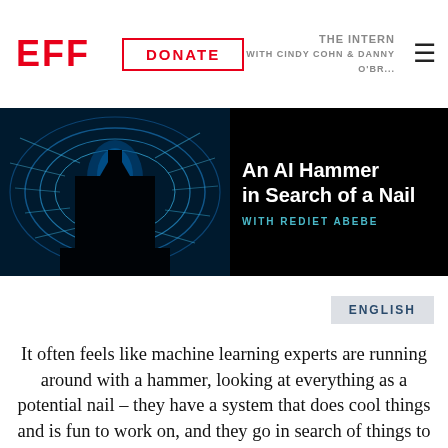[Figure (logo): EFF logo in red bold letters]
[Figure (screenshot): EFF website header with EFF logo, DONATE button, podcast banner 'An AI Hammer in Search of a Nail WITH REDIET ABEBE', and ENGLISH button]
It often feels like machine learning experts are running around with a hammer, looking at everything as a potential nail – they have a system that does cool things and is fun to work on, and they go in search of things to use it for. But what if we flip that around and start by working with people in various fields – education, health, or economics, for example – to clearly define societal problems, and then design algorithms providing